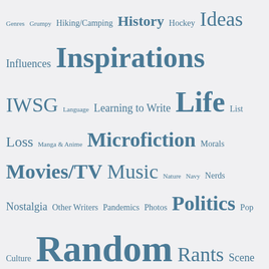[Figure (infographic): Tag cloud / word cloud with blog category tags in various sizes, all in steel blue color on light grey background. Terms include: Genres, Grumpy, Hiking/Camping, History, Hockey, Ideas, Influences, Inspirations, IWSG, Language, Learning to Write, Life, List, Loss, Manga & Anime, Microfiction, Morals, Movies/TV, Music, Nature, Navy, Nerds, Nostalgia, Other Writers, Pandemics, Photos, Politics, Pop Culture, Random, Rants, Scene, Sci-fi, Settings, Snippet, Society, Space, Sports, Suicide, Technology, The Blog, The Flu, Themes & Messages, The Next Story, The RealWorld, The Real World, The Writer, Tips, Video Games, War, Winter, Writer's Block, Writers, Writing Process]